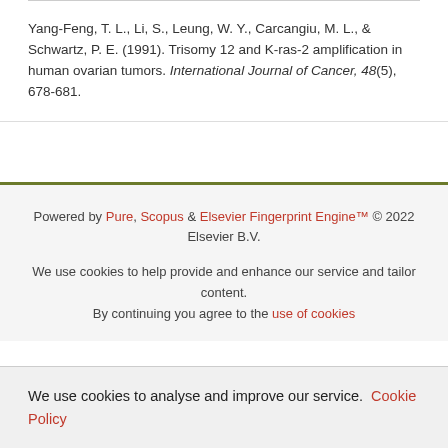Yang-Feng, T. L., Li, S., Leung, W. Y., Carcangiu, M. L., & Schwartz, P. E. (1991). Trisomy 12 and K-ras-2 amplification in human ovarian tumors. International Journal of Cancer, 48(5), 678-681.
Powered by Pure, Scopus & Elsevier Fingerprint Engine™ © 2022 Elsevier B.V.
We use cookies to help provide and enhance our service and tailor content. By continuing you agree to the use of cookies
We use cookies to analyse and improve our service. Cookie Policy